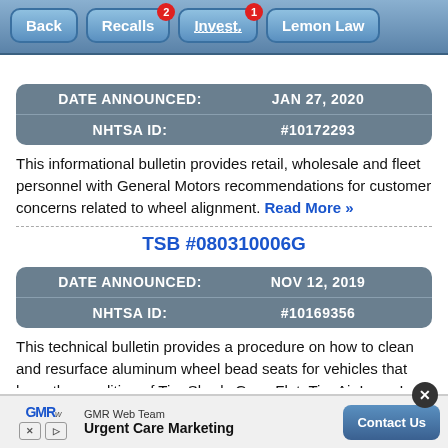[Figure (screenshot): Mobile app navigation bar with Back, Recalls (badge 2), Invest. (badge 1), and Lemon Law buttons]
| DATE ANNOUNCED: | JAN 27, 2020 |
| --- | --- |
| NHTSA ID: | #10172293 |
This informational bulletin provides retail, wholesale and fleet personnel with General Motors recommendations for customer concerns related to wheel alignment. Read More »
TSB #080310006G
| DATE ANNOUNCED: | NOV 12, 2019 |
| --- | --- |
| NHTSA ID: | #10169356 |
This technical bulletin provides a procedure on how to clean and resurface aluminum wheel bead seats for vehicles that have the condition of Tire Slowly Goes Flat, Tire Air Loss, Lo... Tire Pressure Warning Light Illuminat... More »
[Figure (screenshot): Advertisement banner: GMR Web Team - Urgent Care Marketing with Contact Us button and close (X) button]